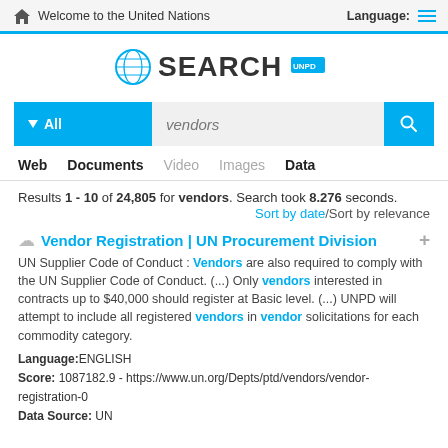Welcome to the United Nations   Language:
[Figure (screenshot): UN Search portal logo with globe icon and SEARCH UNPD text]
[Figure (screenshot): Search bar with All dropdown, 'vendors' query input, and search button]
Web   Documents   Video   Images   Data
Results 1 - 10 of 24,805 for vendors. Search took 8.276 seconds.
Sort by date/Sort by relevance
Vendor Registration | UN Procurement Division
UN Supplier Code of Conduct : Vendors are also required to comply with the UN Supplier Code of Conduct. (...) Only vendors interested in contracts up to $40,000 should register at Basic level. (...) UNPD will attempt to include all registered vendors in vendor solicitations for each commodity category.
Language:ENGLISH
Score: 1087182.9 - https://www.un.org/Depts/ptd/vendors/vendor-registration-0
Data Source: UN